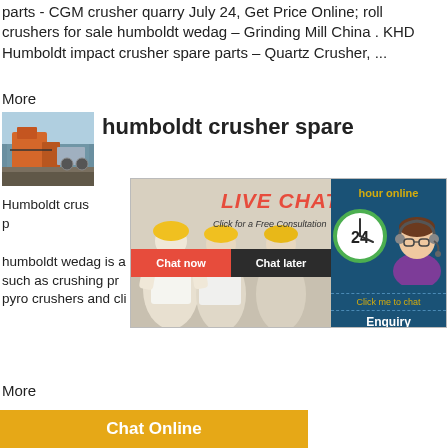parts - CGM crusher quarry July 24, Get Price Online; roll crushers for sale humboldt wedag – Grinding Mill China . KHD Humboldt impact crusher spare parts – Quartz Crusher, ...
More
[Figure (photo): Photo of industrial crusher equipment at a quarry/mining site]
humboldt crusher spare
Humboldt crus... crusher spare p... crusher wedag... spare parts india khd humboldt wedag is a... company that supplies such as crushing pr... impact hammer mills pyro crushers and cli... ag jaw.
[Figure (screenshot): Live chat popup overlay with workers in hard hats, LIVE CHAT text in red italic, 'Click for a Free Consultation', Chat now and Chat later buttons, close button, and right panel with hour online, 24-hour clock, agent avatar, Click me to chat, Enquiry, and superbrian707 sections]
More
Chat Online